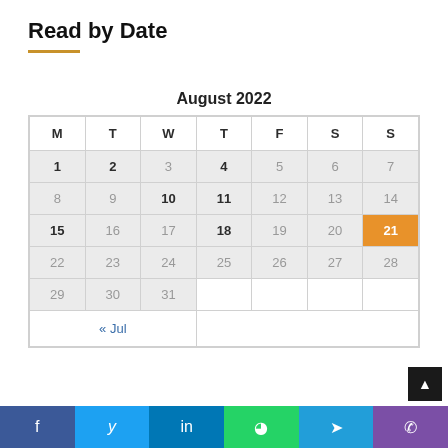Read by Date
| M | T | W | T | F | S | S |
| --- | --- | --- | --- | --- | --- | --- |
| 1 | 2 | 3 | 4 | 5 | 6 | 7 |
| 8 | 9 | 10 | 11 | 12 | 13 | 14 |
| 15 | 16 | 17 | 18 | 19 | 20 | 21 |
| 22 | 23 | 24 | 25 | 26 | 27 | 28 |
| 29 | 30 | 31 |  |  |  |  |
| « Jul |  |  |  |  |  |  |